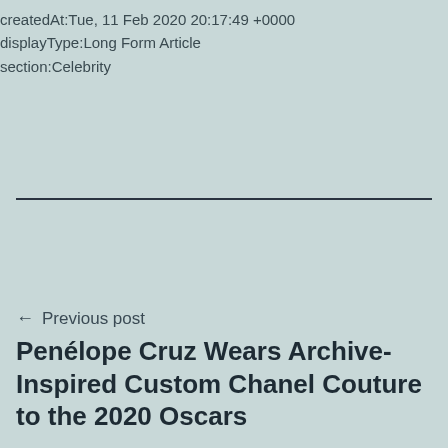createdAt:Tue, 11 Feb 2020 20:17:49 +0000
displayType:Long Form Article
section:Celebrity
← Previous post
Penélope Cruz Wears Archive-Inspired Custom Chanel Couture to the 2020 Oscars